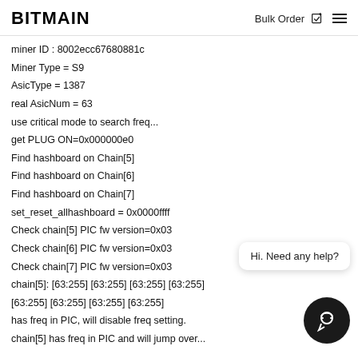BITMAIN  Bulk Order ☑ ≡
miner ID : 8002ecc67680881c
Miner Type = S9
AsicType = 1387
real AsicNum = 63
use critical mode to search freq...
get PLUG ON=0x000000e0
Find hashboard on Chain[5]
Find hashboard on Chain[6]
Find hashboard on Chain[7]
set_reset_allhashboard = 0x0000ffff
Check chain[5] PIC fw version=0x03
Check chain[6] PIC fw version=0x03
Check chain[7] PIC fw version=0x03
chain[5]: [63:255] [63:255] [63:255] [63:255] [63:255] [63:255] [63:255] [63:255]
has freq in PIC, will disable freq setting.
chain[5] has freq in PIC and will jump over...
[Figure (other): Chat support widget with message bubble saying 'Hi. Need any help?' and a dark circular chat button with headset icon]